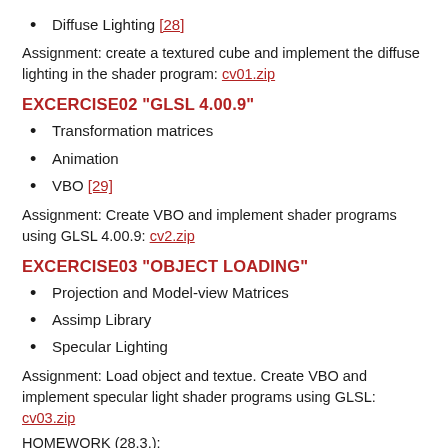Diffuse Lighting [28]
Assignment: create a textured cube and implement the diffuse lighting in the shader program: cv01.zip
EXCERCISE02 "GLSL 4.00.9"
Transformation matrices
Animation
VBO [29]
Assignment: Create VBO and implement shader programs using GLSL 4.00.9: cv2.zip
EXCERCISE03 "OBJECT LOADING"
Projection and Model-view Matrices
Assimp Library
Specular Lighting
Assignment: Load object and textue. Create VBO and implement specular light shader programs using GLSL: cv03.zip
HOMEWORK (28.3.):